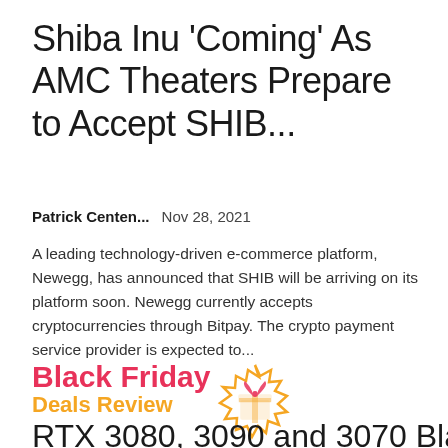Shiba Inu ‘Coming’ As AMC Theaters Prepare to Accept SHIB...
Patrick Centen...    Nov 28, 2021
A leading technology-driven e-commerce platform, Newegg, has announced that SHIB will be arriving on its platform soon. Newegg currently accepts cryptocurrencies through Bitpay. The crypto payment service provider is expected to...
[Figure (infographic): Black Friday Deals Review promotional graphic with a gift badge icon in pink/orange colors]
RTX 3080, 3090 and 3070 Black...